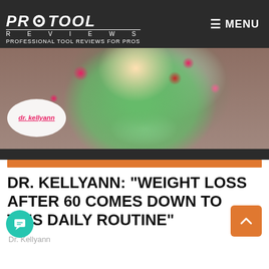PRO TOOL REVIEWS — PROFESSIONAL TOOL REVIEWS FOR PROS | MENU
[Figure (photo): Woman wearing green floral blouse seated, with Dr. Kellyann logo badge overlay in lower left corner]
DR. KELLYANN: "WEIGHT LOSS AFTER 60 COMES DOWN TO THIS DAILY ROUTINE"
Dr. Kellyann